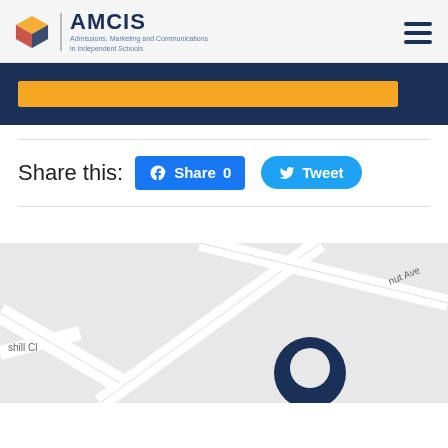AMCIS — Admissions, Marketing and Communications in Independent Schools
[Figure (screenshot): AMCIS website header with logo, brand name, tagline, and hamburger menu]
[Figure (screenshot): Dark navy banner with orange highlight bar]
Share this:
[Figure (screenshot): Facebook Share 0 button and Twitter Tweet button]
[Figure (map): Google Maps partial view showing street map with Chestnut Ave, Claremont Park Rd, shill Cl labels and a dark navy map pin marker]